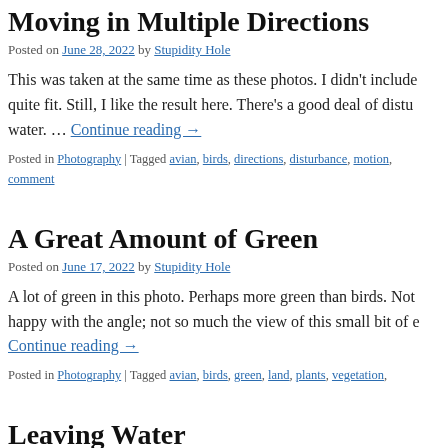Moving in Multiple Directions
Posted on June 28, 2022 by Stupidity Hole
This was taken at the same time as these photos. I didn't include quite fit. Still, I like the result here. There's a good deal of disturb water. … Continue reading →
Posted in Photography | Tagged avian, birds, directions, disturbance, motion, comment
A Great Amount of Green
Posted on June 17, 2022 by Stupidity Hole
A lot of green in this photo. Perhaps more green than birds. Not happy with the angle; not so much the view of this small bit of e Continue reading →
Posted in Photography | Tagged avian, birds, green, land, plants, vegetation,
Leaving Water